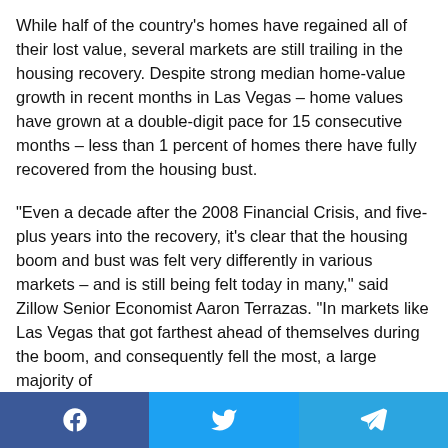While half of the country's homes have regained all of their lost value, several markets are still trailing in the housing recovery. Despite strong median home-value growth in recent months in Las Vegas – home values have grown at a double-digit pace for 15 consecutive months – less than 1 percent of homes there have fully recovered from the housing bust.
“Even a decade after the 2008 Financial Crisis, and five-plus years into the recovery, it’s clear that the housing boom and bust was felt very differently in various markets – and is still being felt today in many,” said Zillow Senior Economist Aaron Terrazas. “In markets like Las Vegas that got farthest ahead of themselves during the boom, and consequently fell the most, a large majority of
Facebook | Twitter | Telegram